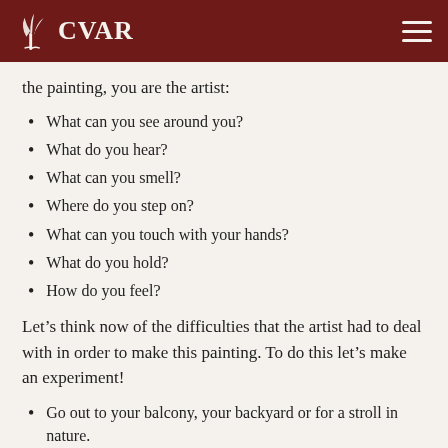CVAR
the painting, you are the artist:
What can you see around you?
What do you hear?
What can you smell?
Where do you step on?
What can you touch with your hands?
What do you hold?
How do you feel?
Let’s think now of the difficulties that the artist had to deal with in order to make this painting. To do this let’s make an experiment!
Go out to your balcony, your backyard or for a stroll in nature.